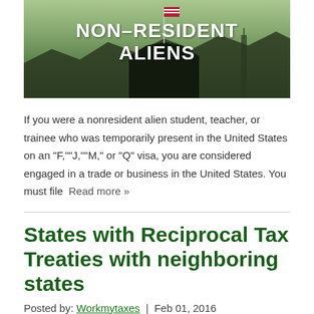[Figure (photo): Banner image with text 'NON-RESIDENT ALIENS' in white bold letters over a landscape with a flag and dark silhouette of a building]
If you were a nonresident alien student, teacher, or trainee who was temporarily present in the United States on an "F,""J,""M," or "Q" visa, you are considered engaged in a trade or business in the United States. You must file
Read more »
States with Reciprocal Tax Treaties with neighboring states
Posted by: Workmytaxes  |  Feb 01, 2016
[Figure (photo): Partial image at bottom, gray/muted tones]